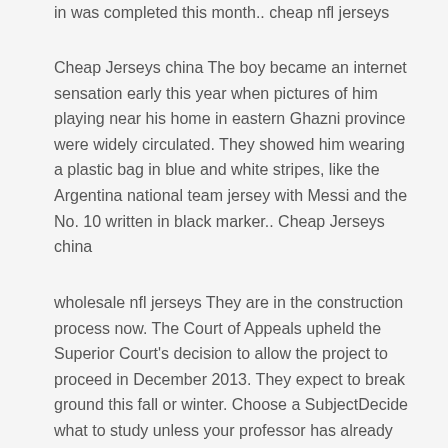in was completed this month.. cheap nfl jerseys
Cheap Jerseys china The boy became an internet sensation early this year when pictures of him playing near his home in eastern Ghazni province were widely circulated. They showed him wearing a plastic bag in blue and white stripes, like the Argentina national team jersey with Messi and the No. 10 written in black marker.. Cheap Jerseys china
wholesale nfl jerseys They are in the construction process now. The Court of Appeals upheld the Superior Court's decision to allow the project to proceed in December 2013. They expect to break ground this fall or winter. Choose a SubjectDecide what to study unless your professor has already